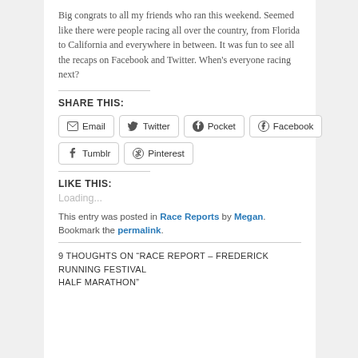Big congrats to all my friends who ran this weekend. Seemed like there were people racing all over the country, from Florida to California and everywhere in between.  It was fun to see all the recaps on Facebook and Twitter. When's everyone racing next?
SHARE THIS:
[Figure (infographic): Social share buttons: Email, Twitter, Pocket, Facebook, Tumblr, Pinterest]
LIKE THIS:
Loading...
This entry was posted in Race Reports by Megan. Bookmark the permalink.
9 THOUGHTS ON "RACE REPORT – FREDERICK RUNNING FESTIVAL HALF MARATHON"